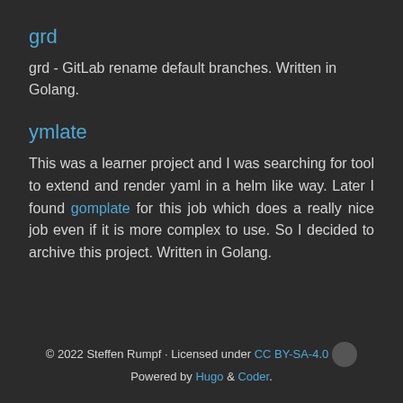grd
grd - GitLab rename default branches. Written in Golang.
ymlate
This was a learner project and I was searching for tool to extend and render yaml in a helm like way. Later I found gomplate for this job which does a really nice job even if it is more complex to use. So I decided to archive this project. Written in Golang.
© 2022 Steffen Rumpf · Licensed under CC BY-SA-4.0 · Powered by Hugo & Coder.